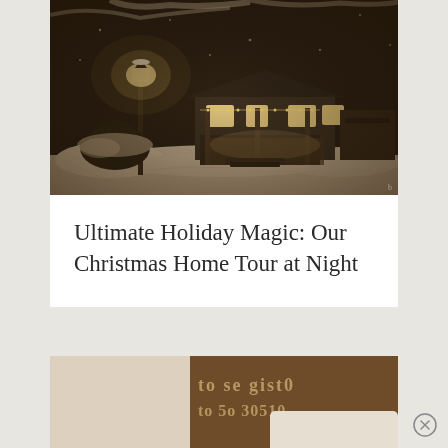[Figure (photo): Nighttime winter scene of a house with warm glowing lights and snow-covered yard, sepia-toned photograph with a street lamp in the foreground]
Ultimate Holiday Magic: Our Christmas Home Tour at Night
[Figure (photo): Partial view of a second image below, appearing to show decorative text or signage, partially cropped]